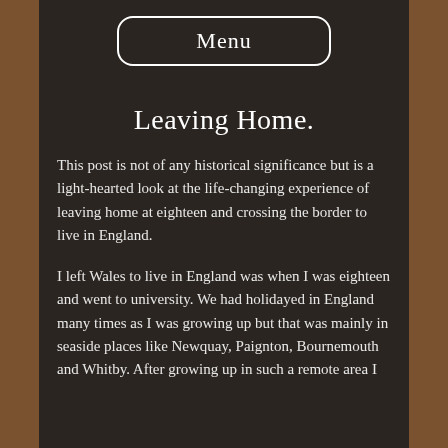Menu
Leaving Home.
This post is not of any historical significance but is a light-hearted look at the life-changing experience of leaving home at eighteen and crossing the border to live in England.
I left Wales to live in England was when I was eighteen and went to university. We had holidayed in England many times as I was growing up but that was mainly in seaside places like Newquay, Paignton, Bournemouth and Whitby. After growing up in such a remote area I